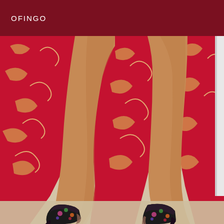OFINGO
[Figure (photo): Close-up photo of a woman's legs wearing ornate floral heeled shoes, with a red and gold patterned fabric dress/skirt with high slit visible in the background. The image is cropped to show only the legs from approximately mid-thigh down to the shoes, set against a light beige floor.]